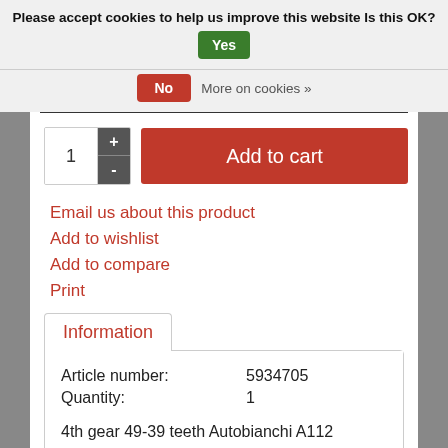Please accept cookies to help us improve this website Is this OK?  Yes  No  More on cookies »
Add to cart (quantity: 1)
Email us about this product
Add to wishlist
Add to compare
Print
| Field | Value |
| --- | --- |
| Article number: | 5934705 |
| Quantity: | 1 |
4th gear 49-39 teeth Autobianchi A112